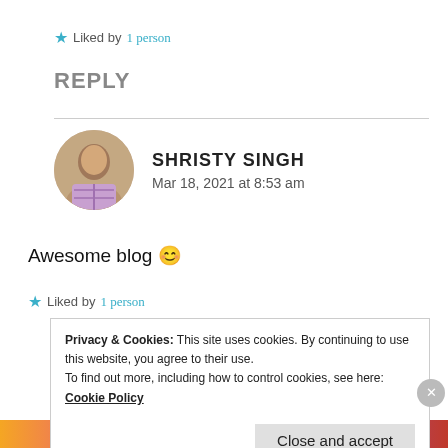★ Liked by 1 person
REPLY
SHRISTY SINGH
Mar 18, 2021 at 8:53 am
Awesome blog 😊
★ Liked by 1 person
Privacy & Cookies: This site uses cookies. By continuing to use this website, you agree to their use.
To find out more, including how to control cookies, see here: Cookie Policy
Close and accept